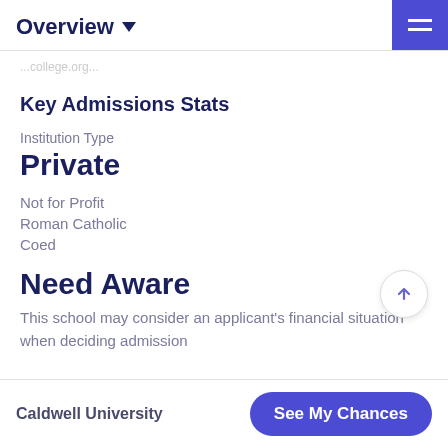Overview
Key Admissions Stats
Institution Type
Private
Not for Profit
Roman Catholic
Coed
Need Aware
This school may consider an applicant's financial situation when deciding admission
Caldwell University | See My Chances